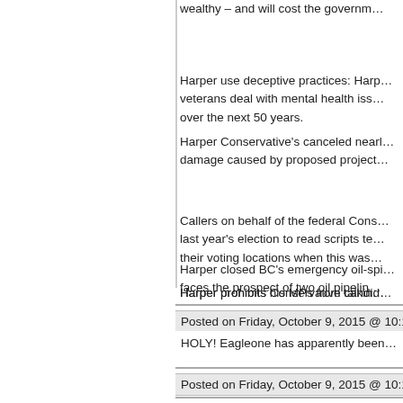wealthy – and will cost the governm…
Harper use deceptive practices: Harp… veterans deal with mental health iss… over the next 50 years.
Harper Conservative's canceled nearl… damage caused by proposed project…
Callers on behalf of the federal Cons… last year's election to read scripts te… their voting locations when this was…
Harper closed BC's emergency oil-spi… faces the prospect of two oil pipelin…
Harper prohibits his MPs from talkin…
Harper prohibits Conservative candid…
Posted on Friday, October 9, 2015 @ 10:12…
HOLY! Eagleone has apparently been…
Posted on Friday, October 9, 2015 @ 10:17…